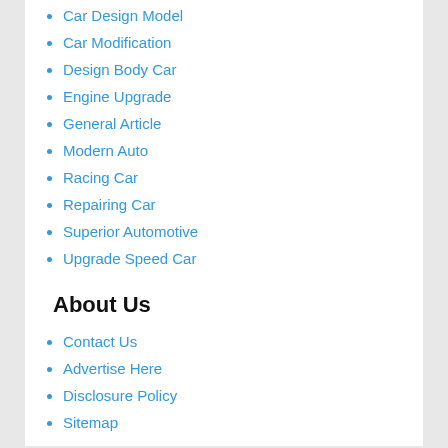Car Design Model
Car Modification
Design Body Car
Engine Upgrade
General Article
Modern Auto
Racing Car
Repairing Car
Superior Automotive
Upgrade Speed Car
Window Tint
About Us
Contact Us
Advertise Here
Disclosure Policy
Sitemap